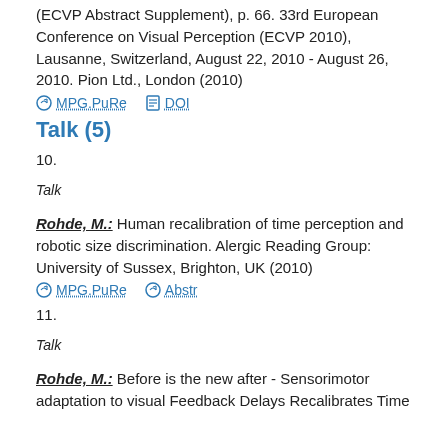(ECVP Abstract Supplement), p. 66. 33rd European Conference on Visual Perception (ECVP 2010), Lausanne, Switzerland, August 22, 2010 - August 26, 2010. Pion Ltd., London (2010)
MPG.PuRe   DOI
Talk (5)
10.
Talk
Rohde, M.: Human recalibration of time perception and robotic size discrimination. Alergic Reading Group: University of Sussex, Brighton, UK (2010)
MPG.PuRe   Abstr
11.
Talk
Rohde, M.: Before is the new after - Sensorimotor adaptation to visual Feedback Delays Recalibrates Time